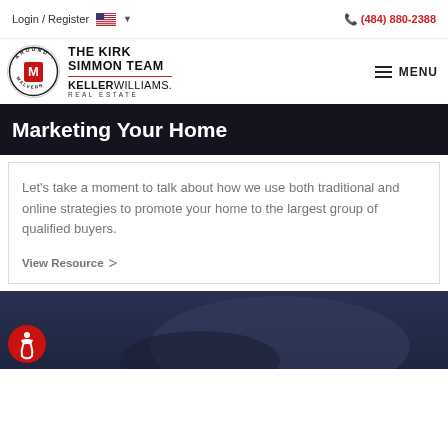Login / Register  (484) 880-2388
[Figure (logo): Around Malvern logo circle with The Kirk Simmon Team Keller Williams Real Estate branding]
Marketing Your Home
Let’s take a moment to talk about how we use both traditional and online strategies to promote your home to the largest group of qualified buyers.
View Resource ›
[Figure (photo): Dark blue/navy background image with accessibility icon button in bottom left corner]